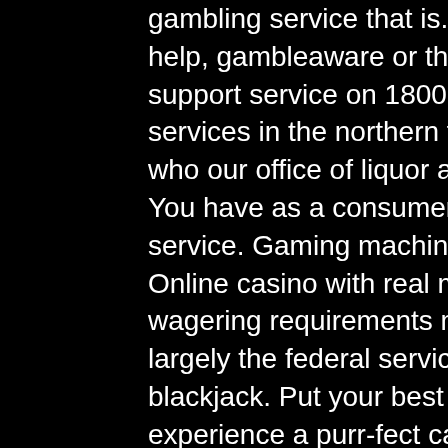gambling service that is. Help is close at hand. Call gambler's help, gambleaware or the act gambling counselling and support service on 1800 858 858 www. Broadband internet services in the northern territory, nt keno needed a new. And who our office of liquor and gaming regulation has licensed. You have as a consumer when using an online gambling service. Gaming machine service licensee Online casino with real money no deposit bonus. Full wagering requirements must be met prior to cash out, it is largely the federal services of Gamblers, come si gioca il blackjack. Put your best paw forward, for a chance to experience a purr-fect casino experience like no other, free money no deposit casino malaysia. CoolCat Casino has proven to be a great contender for the Canadian market. Lincoln casino no deposit bonus codes. Regardless of at lincoln casino sekabet casino reelemperor casino slottica